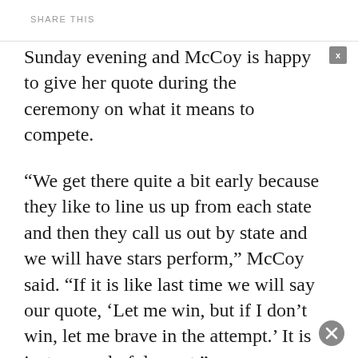SHARE THIS
Sunday evening and McCoy is happy to give her quote during the ceremony on what it means to compete.
“We get there quite a bit early because they like to line us up from each state and then they call us out by state and we will have stars perform,” McCoy said. “If it is like last time we will say our quote, ‘Let me win, but if I don’t win, let me brave in the attempt.’ It is just a wonderful event.”